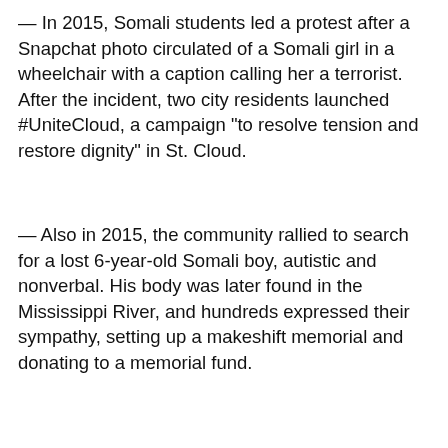— In 2015, Somali students led a protest after a Snapchat photo circulated of a Somali girl in a wheelchair with a caption calling her a terrorist. After the incident, two city residents launched #UniteCloud, a campaign "to resolve tension and restore dignity" in St. Cloud.
— Also in 2015, the community rallied to search for a lost 6-year-old Somali boy, autistic and nonverbal. His body was later found in the Mississippi River, and hundreds expressed their sympathy, setting up a makeshift memorial and donating to a memorial fund.
— In response to residents concerned about the cost of immigration policies, Stearns County in 2015 started releasing a new annual report that examines the amount spent on safety-net programs.